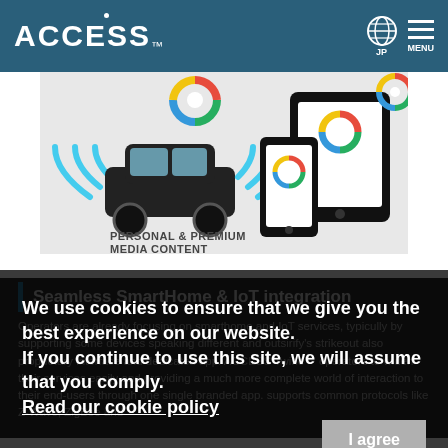ACCESS
[Figure (illustration): Hero image showing a connected car with WiFi signals and mobile/tablet devices with colorful swirl logos, with text 'PERSONAL & PREMIUM MEDIA CONTENT' on a light grey background]
Seamless SmartHome & IoT integration
Operators are already focusing on smarthome and IoT services, typically by supporting some devices speaking different and usually's strikeout also proprietary interface and dedicated app. ACCESS Twine™ operators to widen their services easily and providing a much more complete world of interaction to their end-users through one single branded app. Supports common protocols like Z-Wave, ZigBee and
We use cookies to ensure that we give you the best experience on our website. If you continue to use this site, we will assume that you comply. Read our cookie policy
I agree